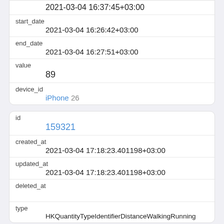| field | value |
| --- | --- |
| (top value) | 2021-03-04 16:37:45+03:00 |
| start_date | 2021-03-04 16:26:42+03:00 |
| end_date | 2021-03-04 16:27:51+03:00 |
| value | 89 |
| device_id | iPhone 26 |
| field | value |
| --- | --- |
| id | 159321 |
| created_at | 2021-03-04 17:18:23.401198+03:00 |
| updated_at | 2021-03-04 17:18:23.401198+03:00 |
| deleted_at |  |
| type | HKQuantityTypeIdentifierDistanceWalkingRunning |